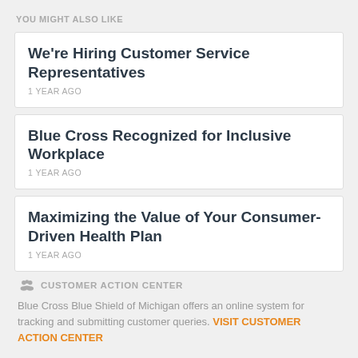YOU MIGHT ALSO LIKE
We're Hiring Customer Service Representatives
1 YEAR AGO
Blue Cross Recognized for Inclusive Workplace
1 YEAR AGO
Maximizing the Value of Your Consumer-Driven Health Plan
1 YEAR AGO
CUSTOMER ACTION CENTER
Blue Cross Blue Shield of Michigan offers an online system for tracking and submitting customer queries. VISIT CUSTOMER ACTION CENTER